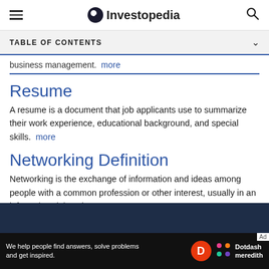Investopedia
TABLE OF CONTENTS
business management. more
Resume
A resume is a document that job applicants use to summarize their work experience, educational background, and special skills. more
Networking Definition
Networking is the exchange of information and ideas among people with a common profession or other interest, usually in an informal social setting. more
We help people find answers, solve problems and get inspired. Dotdash meredith